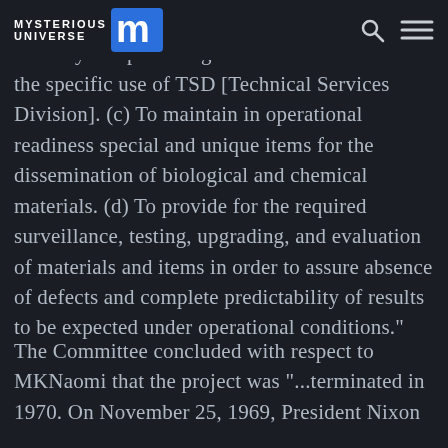Mysterious Universe
manufacture ational requirements. To stockpile severely incapacitating and lethal materials for the specific use of TSD [Technical Services Division]. (c) To maintain in operational readiness special and unique items for the dissemination of biological and chemical materials. (d) To provide for the required surveillance, testing, upgrading, and evaluation of materials and items in order to assure absence of defects and complete predictability of results to be expected under operational conditions."
The Committee concluded with respect to MKNaomi that the project was "...terminated in 1970. On November 25, 1969, President Nixon